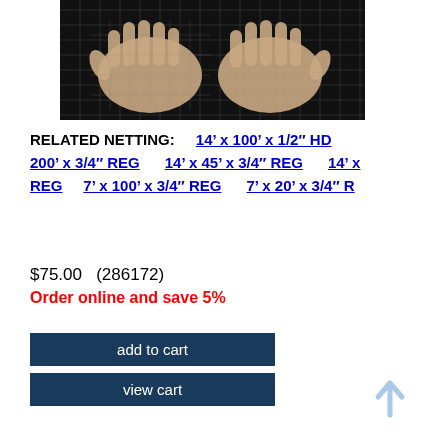[Figure (photo): Hands holding/displaying a netting mesh product against a dark background]
RELATED NETTING: 14' x 100' x 1/2'' HD 200' x 3/4'' REG 14' x 45' x 3/4'' REG 14' x REG 7' x 100' x 3/4'' REG 7' x 20' x 3/4'' R
$75.00 (286172)
Order online and save 5%
add to cart
view cart